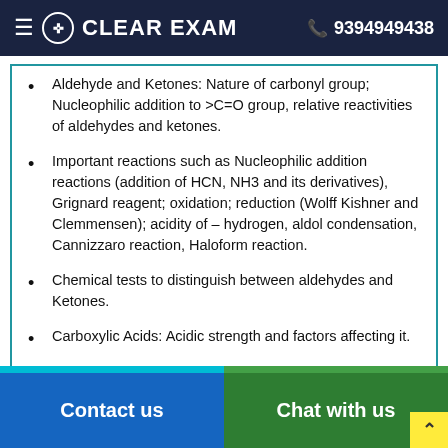CLEAR EXAM  9394949438
Aldehyde and Ketones: Nature of carbonyl group; Nucleophilic addition to >C=O group, relative reactivities of aldehydes and ketones.
Important reactions such as Nucleophilic addition reactions (addition of HCN, NH3 and its derivatives), Grignard reagent; oxidation; reduction (Wolff Kishner and Clemmensen); acidity of – hydrogen, aldol condensation, Cannizzaro reaction, Haloform reaction.
Chemical tests to distinguish between aldehydes and Ketones.
Carboxylic Acids: Acidic strength and factors affecting it.
Contact us   Chat with us